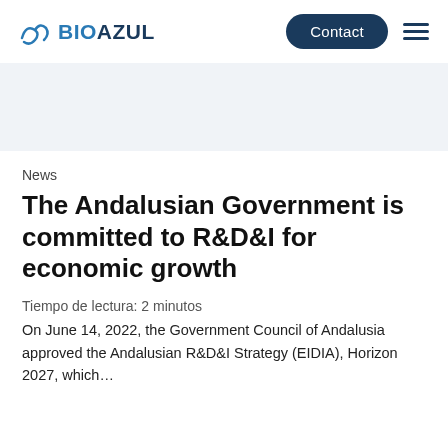BIOAZUL | Contact
News
The Andalusian Government is committed to R&D&I for economic growth
Tiempo de lectura: 2 minutos
On June 14, 2022, the Government Council of Andalusia approved the Andalusian R&D&I Strategy (EIDIA), Horizon 2027, which…